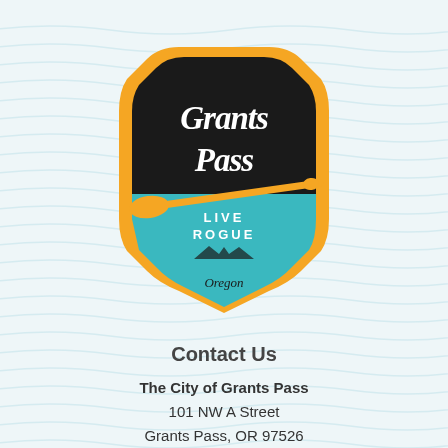[Figure (logo): Grants Pass city logo: black octagonal badge with orange border, script text 'Grants Pass', teal lower section with 'LIVE ROGUE' and 'Oregon' text and mountain silhouette, orange paddle/oar crossing the badge diagonally]
Contact Us
The City of Grants Pass
101 NW A Street
Grants Pass, OR 97526